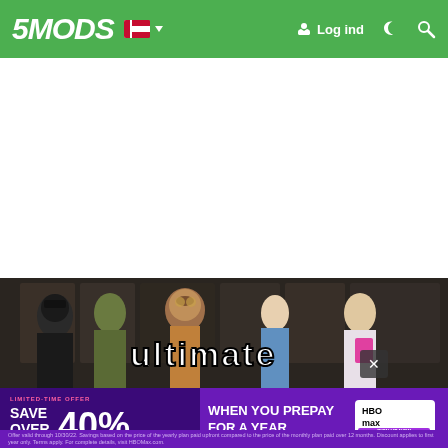5MODS — Log ind
[Figure (screenshot): GTA-style game characters standing in a locker room: a masked soldier, a green creature, an animated monkey in aviator gear, a blue-hoodie character, and a superhero character. 'ultimate' text overlaid.]
[Figure (infographic): HBO Max advertisement banner: LIMITED-TIME OFFER — SAVE OVER 40% WHEN YOU PREPAY FOR A YEAR — HBO max SIGN UP NOW. Fine print: Offer valid through 10/30/22. Savings based on the price of the yearly plan paid upfront compared to the price of the monthly plan paid over 12 months. Discount applies to first year only. Terms apply. For complete details, visit HBOMax.com.]